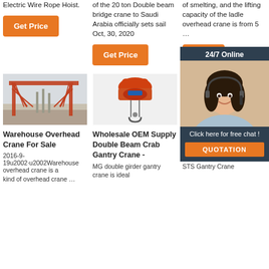Electric Wire Rope Hoist.
Get Price
of the 20 ton Double beam bridge crane to Saudi Arabia officially sets sail Oct, 30, 2020
Get Price
of smelting, and the lifting capacity of the ladle overhead crane is from 5 …
Get Price
[Figure (photo): 24/7 Online customer service representative with headset overlay panel]
[Figure (photo): Red gantry crane at construction site]
[Figure (photo): Orange electric wire rope hoist]
[Figure (photo): Ship to shore gantry crane green industrial setting]
Warehouse Overhead Crane For Sale
2016-9-19u2002·u2002Warehouse overhead crane is a kind of overhead crane …
Wholesale OEM Supply Double Beam Crab Gantry Crane -
MG double girder gantry crane is ideal
Ship To Shore Gantry Crane Price List – Overhead Gantry …
STS Gantry Crane